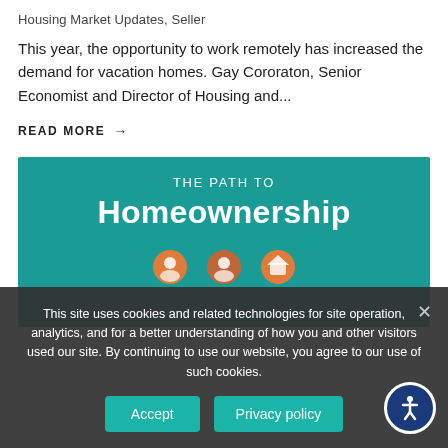Housing Market Updates, Seller
This year, the opportunity to work remotely has increased the demand for vacation homes. Gay Cororaton, Senior Economist and Director of Housing and...
READ MORE →
[Figure (infographic): Infographic with teal background. Top text: 'THE PATH TO' in small caps, then large bold 'Homeownership'. Below are illustrated icons for steps on the path to homeownership.]
This site uses cookies and related technologies for site operation, analytics, and for a better understanding of how you and other visitors used our site. By continuing to use our website, you agree to our use of such cookies.
Accept   Privacy policy